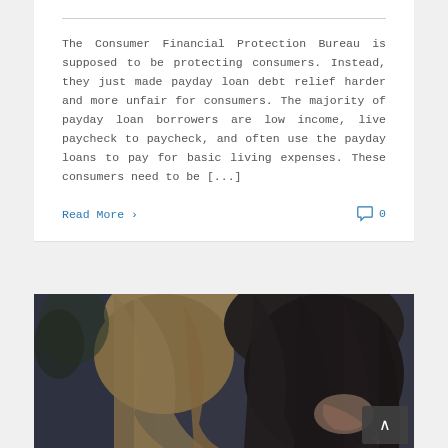The Consumer Financial Protection Bureau is supposed to be protecting consumers. Instead, they just made payday loan debt relief harder and more unfair for consumers. The majority of payday loan borrowers are low income, live paycheck to paycheck, and often use the payday loans to pay for basic living expenses. These consumers need to be [...]
Read More ›
0
[Figure (photo): Two people with heads close together, one with blonde hair and one with dark hair, taken from behind. Blurred outdoor background with trees.]